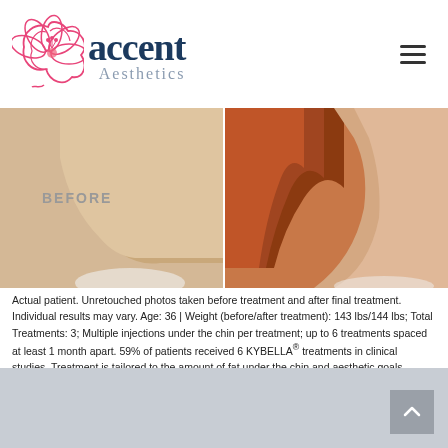[Figure (logo): Accent Aesthetics logo with pink flower and dark navy text, hamburger menu icon top right]
[Figure (photo): Before and after side-by-side photos of patient's chin/neck area. Left side shows 'BEFORE' with a double chin, right side shows after treatment with a slimmer jawline and red hair visible.]
Actual patient. Unretouched photos taken before treatment and after final treatment. Individual results may vary. Age: 36 | Weight (before/after treatment): 143 lbs/144 lbs; Total Treatments: 3; Multiple injections under the chin per treatment; up to 6 treatments spaced at least 1 month apart. 59% of patients received 6 KYBELLA® treatments in clinical studies. Treatment is tailored to the amount of fat under the chin and aesthetic goals.